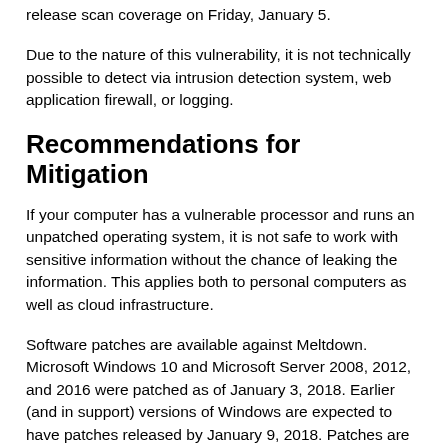release scan coverage on Friday, January 5.
Due to the nature of this vulnerability, it is not technically possible to detect via intrusion detection system, web application firewall, or logging.
Recommendations for Mitigation
If your computer has a vulnerable processor and runs an unpatched operating system, it is not safe to work with sensitive information without the chance of leaking the information. This applies both to personal computers as well as cloud infrastructure.
Software patches are available against Meltdown. Microsoft Windows 10 and Microsoft Server 2008, 2012, and 2016 were patched as of January 3, 2018. Earlier (and in support) versions of Windows are expected to have patches released by January 9, 2018. Patches are also